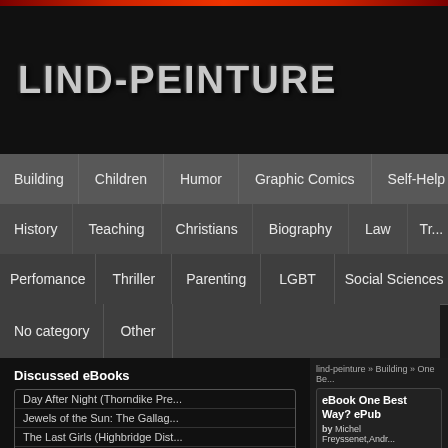LIND-PEINTURE
Building | Children | Humor | Graphic Comics | Self-Help | History | Teaching | Christians | Biography | Law | Tr... | Perfomance | Thriller | Parenting | LGBT | Social Sciences | No category | Other
lind-peinture » Building » One Be...
Discussed eBooks
Day After Night (Thorndike Pre...
Jewels of the Sun: The Gallag...
The Last Girls (Highbridge Dist...
Tao Te Ching
Year of Wonders
eBook One Best Way? ePub
by Michel Freyssenet,Andr...
Michel Freyssenet  Ar...